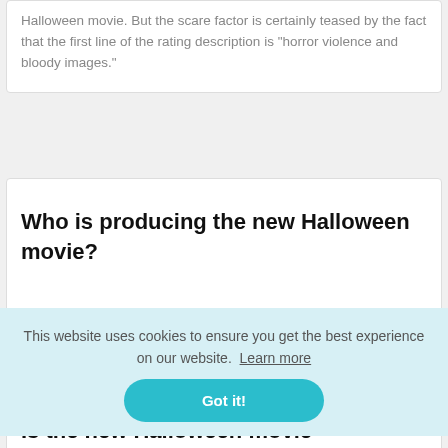Halloween movie. But the scare factor is certainly teased by the fact that the first line of the rating description is “horror violence and bloody images.”
Who is producing the new Halloween movie?
This website uses cookies to ensure you get the best experience on our website. Learn more
Got it!
Is the new Halloween movie